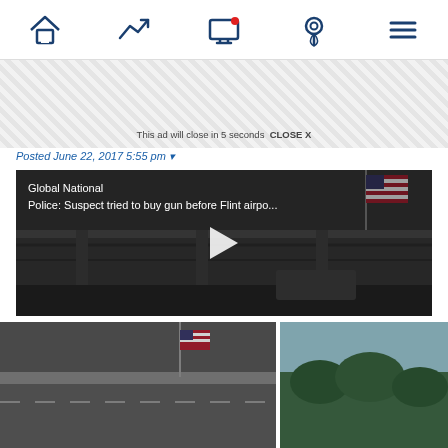Navigation bar with icons: home, trending, screen with notification, location pin, menu
[Figure (screenshot): Ad banner strip with diagonal stripe pattern and overlay text: 'This ad will close in 5 seconds  CLOSE X']
Posted June 22, 2017 5:55 pm ▾
[Figure (screenshot): Video player showing airport exterior at dusk with American flag. Title overlay reads: 'Global National / Police: Suspect tried to buy gun before Flint airpo...' with a white play button triangle in center.]
[Figure (photo): Two thumbnail images at bottom of page: left shows a road/highway with flag, right shows an outdoor scene with greenery.]